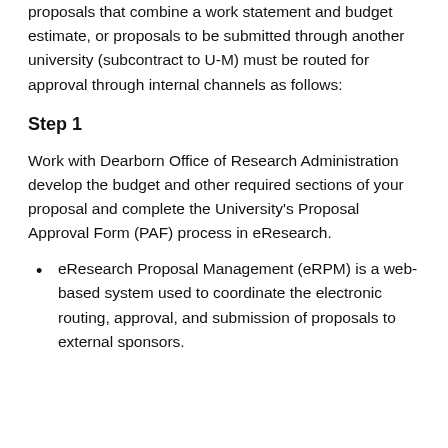proposals that combine a work statement and budget estimate, or proposals to be submitted through another university (subcontract to U-M) must be routed for approval through internal channels as follows:
Step 1
Work with Dearborn Office of Research Administration develop the budget and other required sections of your proposal and complete the University's Proposal Approval Form (PAF) process in eResearch.
eResearch Proposal Management (eRPM) is a web-based system used to coordinate the electronic routing, approval, and submission of proposals to external sponsors.